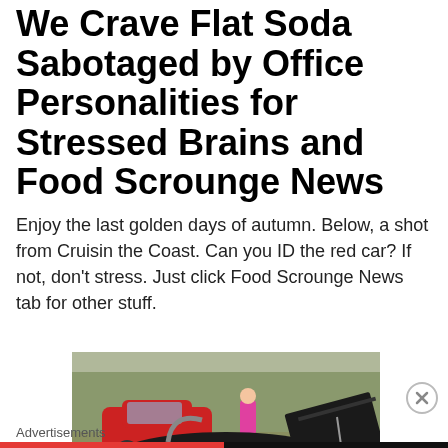We Crave Flat Soda Sabotaged by Office Personalities for Stressed Brains and Food Scrounge News
Enjoy the last golden days of autumn. Below, a shot from Cruisin the Coast. Can you ID the red car? If not, don't stress. Just click Food Scrounge News tab for other stuff.
[Figure (photo): Outdoor car show photo showing a black open-cockpit car (viewed from above/behind showing cockpit and dashboard) in the foreground with a classic red car and a child in a pink shirt visible in the background among trees.]
Advertisements